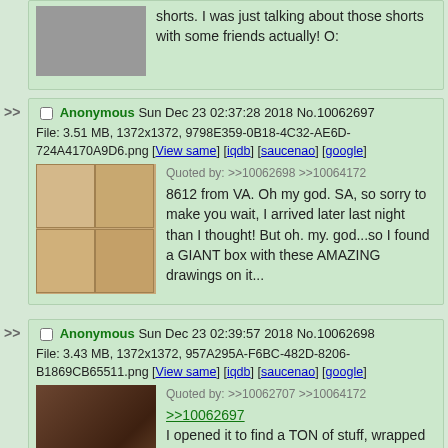shorts. I was just talking about those shorts with some friends actually! O:
Anonymous Sun Dec 23 02:37:28 2018 No.10062697
File: 3.51 MB, 1372x1372, 9798E359-0B18-4C32-AE6D-724A4170A9D6.png [View same] [iqdb] [saucenao] [google]
Quoted by: >>10062698 >>10064172
8612 from VA. Oh my god. SA, so sorry to make you wait, I arrived later last night than I thought! But oh. my. god...so I found a GIANT box with these AMAZING drawings on it...
[Figure (photo): Four-panel image showing anime pencil drawings on cardboard]
Anonymous Sun Dec 23 02:39:57 2018 No.10062698
File: 3.43 MB, 1372x1372, 957A295A-F6BC-482D-8206-B1869CB65511.png [View same] [iqdb] [saucenao] [google]
Quoted by: >>10062707 >>10064172
>>10062697
I opened it to find a TON of stuff, wrapped super nicely (rubbish about you being a bad
[Figure (photo): Photo of wrapped gift items in a box]